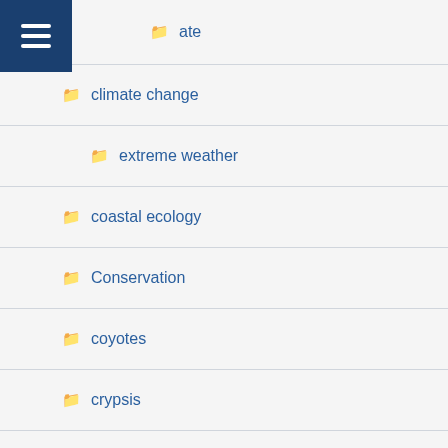ate
climate change
extreme weather
coastal ecology
Conservation
coyotes
crypsis
Ecology
ecology
Entomology
Evolution
field biology
Fire
Funding